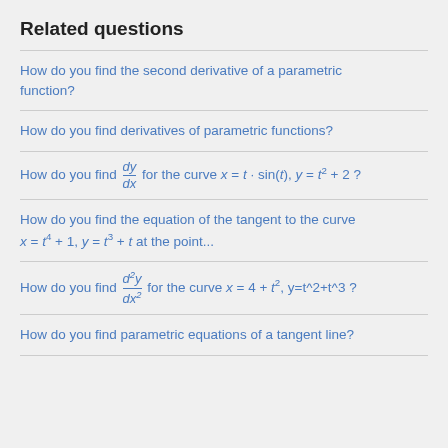Related questions
How do you find the second derivative of a parametric function?
How do you find derivatives of parametric functions?
How do you find dy/dx for the curve x = t · sin(t), y = t² + 2?
How do you find the equation of the tangent to the curve x = t⁴ + 1, y = t³ + t at the point...
How do you find d²y/dx² for the curve x = 4 + t², y=t^2+t^3?
How do you find parametric equations of a tangent line?